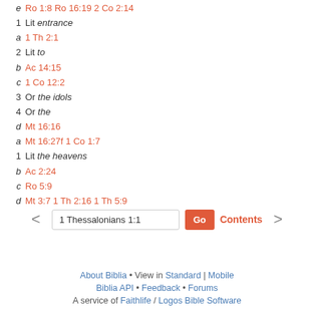e  Ro 1:8 Ro 16:19 2 Co 2:14
1  Lit entrance
a  1 Th 2:1
2  Lit to
b  Ac 14:15
c  1 Co 12:2
3  Or the idols
4  Or the
d  Mt 16:16
a  Mt 16:27f 1 Co 1:7
1  Lit the heavens
b  Ac 2:24
c  Ro 5:9
d  Mt 3:7 1 Th 2:16 1 Th 5:9
1 Thessalonians 1:1 | Go | Contents | About Biblia • View in Standard | Mobile | Biblia API • Feedback • Forums | A service of Faithlife / Logos Bible Software